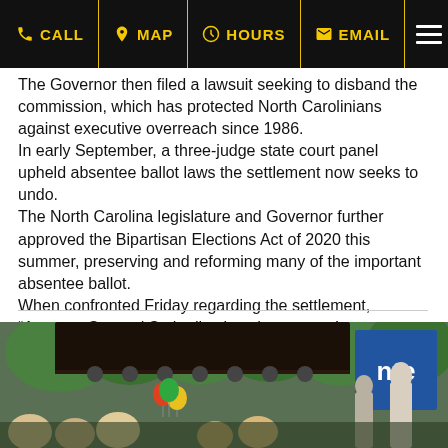CALL | MAP | HOURS | EMAIL
The Governor then filed a lawsuit seeking to disband the commission, which has protected North Carolinians against executive overreach since 1986. In early September, a three-judge state court panel upheld absentee ballot laws the settlement now seeks to undo. The North Carolina legislature and Governor further approved the Bipartisan Elections Act of 2020 this summer, preserving and reforming many of the important absentee ballot. When confronted Friday regarding the settlement, “Attorney General Stein dismissed a reporter’s concerns as political noise,” the press release states. On Thursday, two Republican members of…
read more
[Figure (photo): Outdoor political rally or event with a stage canopy, crowd in foreground, balloons, stage lighting equipment, blue banner/screen on right side with partial text visible, trees in background]